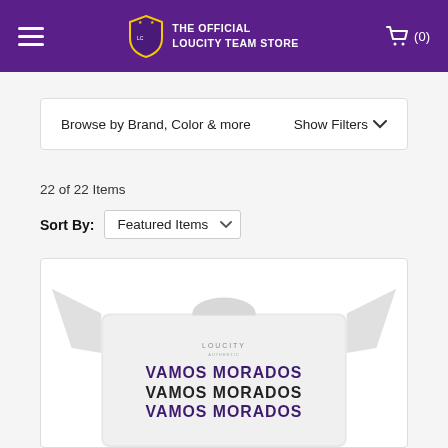THE OFFICIAL LOUCITY TEAM STORE
Browse by Brand, Color & more   Show Filters
22 of 22 Items
Sort By: Featured Items
[Figure (photo): White t-shirt with 'VAMOS MORADOS' printed three times in purple and dark text, with LOUCITY logo at chest]